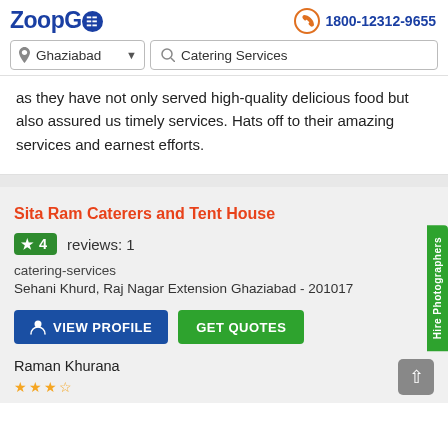ZoopGo | 1800-12312-9655 | Ghaziabad | Catering Services
as they have not only served high-quality delicious food but also assured us timely services. Hats off to their amazing services and earnest efforts.
Sita Ram Caterers and Tent House
4 reviews: 1
catering-services
Sehani Khurd, Raj Nagar Extension Ghaziabad - 201017
VIEW PROFILE
GET QUOTES
Raman Khurana